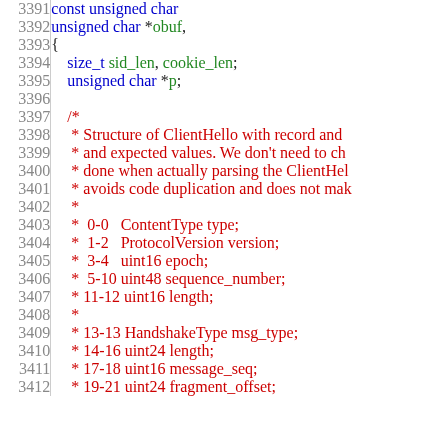Source code listing lines 3391-3412, C code with line numbers, showing function parameters and a comment block describing ClientHello structure fields.